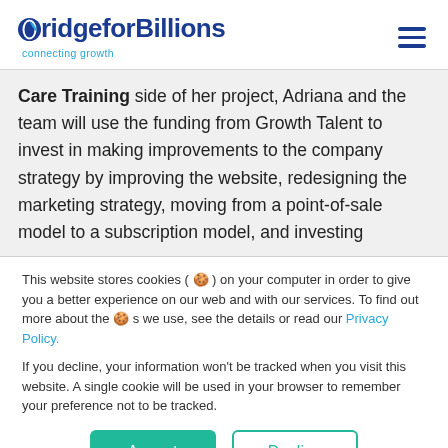BridgeforBillions connecting growth
Care Training side of her project, Adriana and the team will use the funding from Growth Talent to invest in making improvements to the company strategy by improving the website, redesigning the marketing strategy, moving from a point-of-sale model to a subscription model, and investing
This website stores cookies (🍪) on your computer in order to give you a better experience on our web and with our services. To find out more about the 🍪 s we use, see the details or read our Privacy Policy.
If you decline, your information won't be tracked when you visit this website. A single cookie will be used in your browser to remember your preference not to be tracked.
Accept | Decline